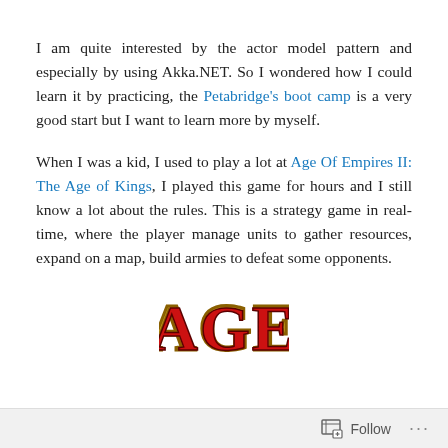I am quite interested by the actor model pattern and especially by using Akka.NET. So I wondered how I could learn it by practicing, the Petabridge's boot camp is a very good start but I want to learn more by myself.
When I was a kid, I used to play a lot at Age Of Empires II: The Age of Kings, I played this game for hours and I still know a lot about the rules. This is a strategy game in real-time, where the player manage units to gather resources, expand on a map, build armies to defeat some opponents.
[Figure (logo): Age of Empires logo showing stylized red and gold letters AGE]
Follow ···